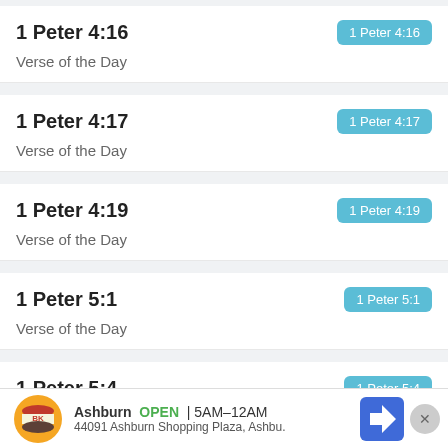1 Peter 4:16
Verse of the Day
1 Peter 4:17
Verse of the Day
1 Peter 4:19
Verse of the Day
1 Peter 5:1
Verse of the Day
1 Peter 5:4
Verse of the Day
[Figure (other): Burger King advertisement banner: Ashburn OPEN 5AM-12AM, 44091 Ashburn Shopping Plaza, Ashbu.]